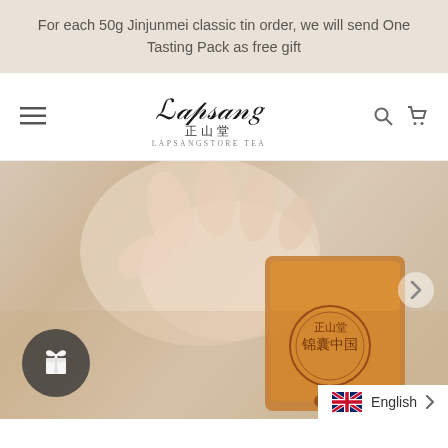For each 50g Jinjunmei classic tin order, we will send One Tasting Pack as free gift
[Figure (logo): Lapsangstore Tea logo with Chinese calligraphy characters and text '正山堂 LAPSANGSTORE TEA']
[Figure (photo): Hand holding a golden/copper-colored Chinese tea tasting pack with Chinese characters and a seal stamp design]